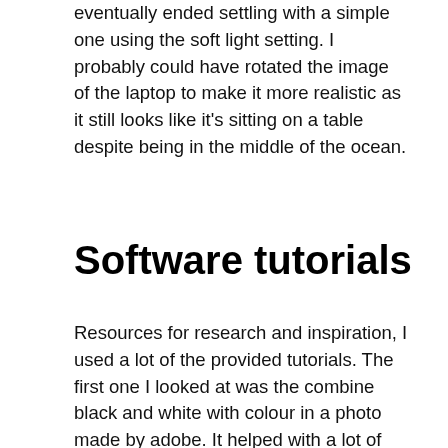eventually ended settling with a simple one using the soft light setting. I probably could have rotated the image of the laptop to make it more realistic as it still looks like it's sitting on a table despite being in the middle of the ocean.
Software tutorials
Resources for research and inspiration, I used a lot of the provided tutorials. The first one I looked at was the combine black and white with colour in a photo made by adobe. It helped with a lot of the basics for